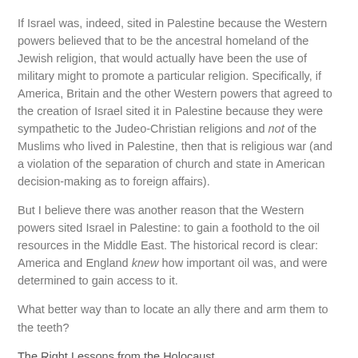If Israel was, indeed, sited in Palestine because the Western powers believed that to be the ancestral homeland of the Jewish religion, that would actually have been the use of military might to promote a particular religion. Specifically, if America, Britain and the other Western powers that agreed to the creation of Israel sited it in Palestine because they were sympathetic to the Judeo-Christian religions and not of the Muslims who lived in Palestine, then that is religious war (and a violation of the separation of church and state in American decision-making as to foreign affairs).
But I believe there was another reason that the Western powers sited Israel in Palestine: to gain a foothold to the oil resources in the Middle East. The historical record is clear: America and England knew how important oil was, and were determined to gain access to it.
What better way than to locate an ally there and arm them to the teeth?
The Right Lessons from the Holocaust